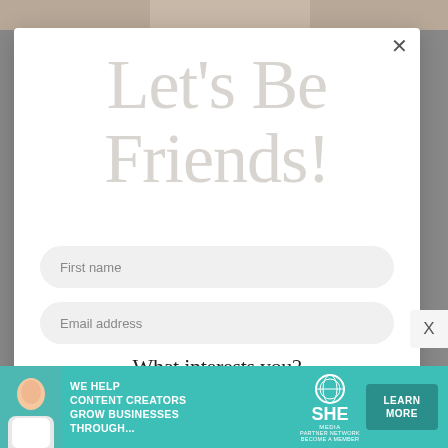[Figure (photo): Partial photo visible at top of page, cropped]
Let's Be Friends!
First name
Email address
What interests you?
[Figure (infographic): Ad banner: WE HELP CONTENT CREATORS GROW BUSINESSES THROUGH... SHE Media Partner Network BECOME A MEMBER. Learn More button.]